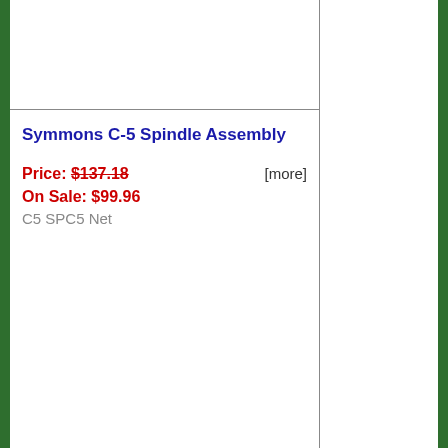Symmons C-5 Spindle Assembly
Price: $137.18  [more]
On Sale: $99.96
C5 SPC5 Net
Symmons C-50 Socket Tool
Price: $96.74  [more]
On Sale: $64.96